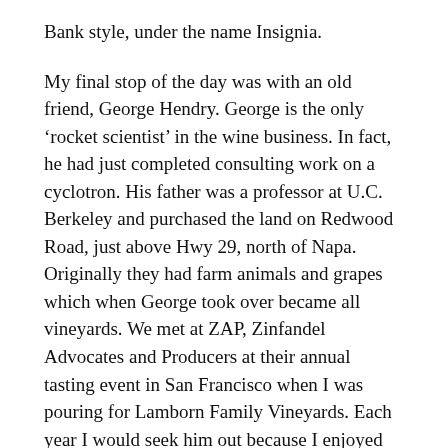Bank style, under the name Insignia.
My final stop of the day was with an old friend, George Hendry. George is the only ‘rocket scientist’ in the wine business. In fact, he had just completed consulting work on a cyclotron. His father was a professor at U.C. Berkeley and purchased the land on Redwood Road, just above Hwy 29, north of Napa. Originally they had farm animals and grapes which when George took over became all vineyards. We met at ZAP, Zinfandel Advocates and Producers at their annual tasting event in San Francisco when I was pouring for Lamborn Family Vineyards. Each year I would seek him out because I enjoyed talking with him but also because his zin’s appealed to my taste like no other besides the Lamborn.
I also visited the winery for tours and tastings with friends coming to the Valley. George conducts all the